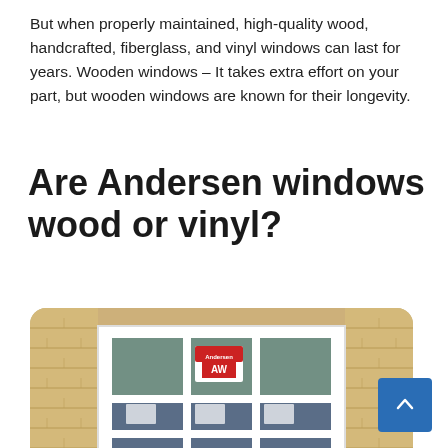But when properly maintained, high-quality wood, handcrafted, fiberglass, and vinyl windows can last for years. Wooden windows – It takes extra effort on your part, but wooden windows are known for their longevity.
Are Andersen windows wood or vinyl?
[Figure (photo): Photo of an Andersen window installed in a house with tan/beige shingle siding. The white-framed multi-pane window has an Andersen logo sticker visible on one of the glass panes.]